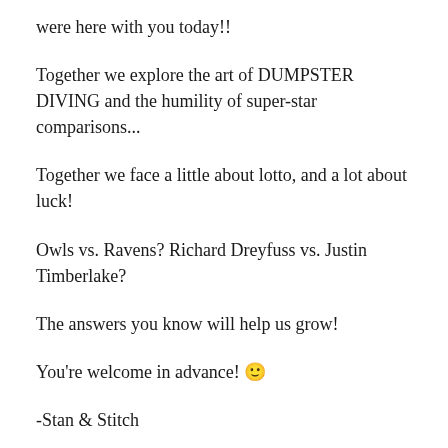were here with you today!!
Together we explore the art of DUMPSTER DIVING and the humility of super-star comparisons...
Together we face a little about lotto, and a lot about luck!
Owls vs. Ravens? Richard Dreyfuss vs. Justin Timberlake?
The answers you know will help us grow!
You're welcome in advance! 🙂
-Stan & Stitch